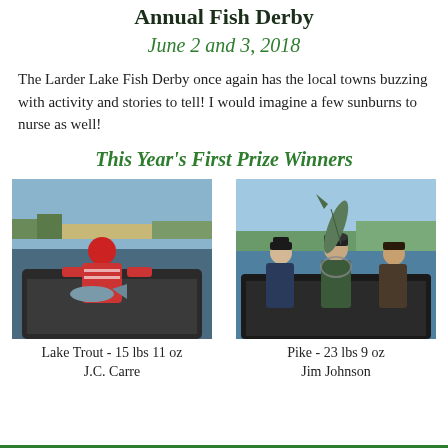Annual Fish Derby
June 2 and 3, 2018
The Larder Lake Fish Derby once again has the local towns buzzing with activity and stories to tell! I would imagine a few sunburns to nurse as well!
This Year's First Prize Winners
[Figure (photo): Person in red cap and jersey on a fishing boat with a fish]
Lake Trout - 15 lbs 11 oz
J.C. Carre
[Figure (photo): Three people on a boat holding up a large pike fish]
Pike - 23 lbs 9 oz
Jim Johnson